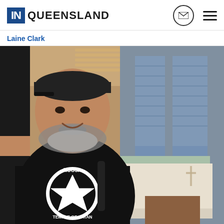IN QUEENSLAND
Laine Clark
[Figure (photo): A man wearing a black t-shirt that reads 'NOOSA TEMPLE OF SATAN' with a pentagram symbol, standing in what appears to be a chapel or meeting room with a table/altar draped in white cloth visible in the background and large windows with grey blinds.]